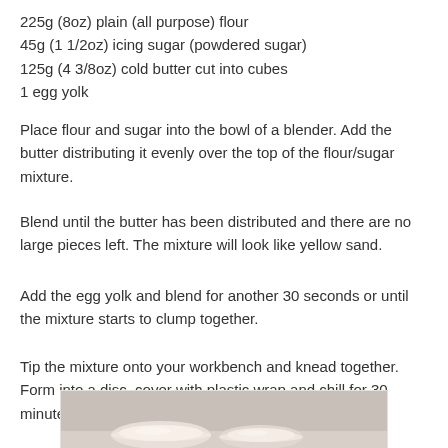225g (8oz) plain (all purpose) flour
45g (1 1/2oz) icing sugar (powdered sugar)
125g (4 3/8oz) cold butter cut into cubes
1 egg yolk
Place flour and sugar into the bowl of a blender. Add the butter distributing it evenly over the top of the flour/sugar mixture.
Blend until the butter has been distributed and there are no large pieces left. The mixture will look like yellow sand.
Add the egg yolk and blend for another 30 seconds or until the mixture starts to clump together.
Tip the mixture onto your workbench and knead together. Form into a disc, cover with plastic wrap and chill for 30 minutes.
[Figure (photo): Photo of mixing bowls with flour and sugar ingredients on a light surface]